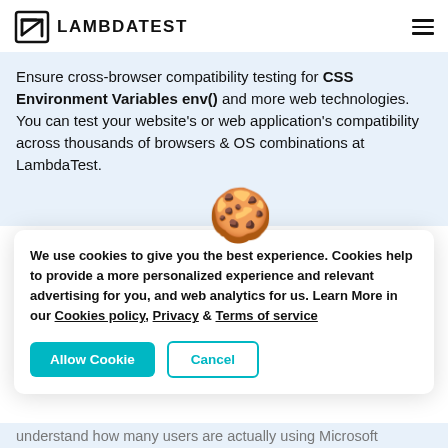[Figure (logo): LambdaTest logo with house-like icon and bold text LAMBDATEST]
Ensure cross-browser compatibility testing for CSS Environment Variables env() and more web technologies. You can test your website's or web application's compatibility across thousands of browsers & OS combinations at LambdaTest.
[Figure (illustration): Cookie emoji illustration]
We use cookies to give you the best experience. Cookies help to provide a more personalized experience and relevant advertising for you, and web analytics for us. Learn More in our Cookies policy, Privacy & Terms of service
Allow Cookie  Cancel
understand how many users are actually using Microsoft